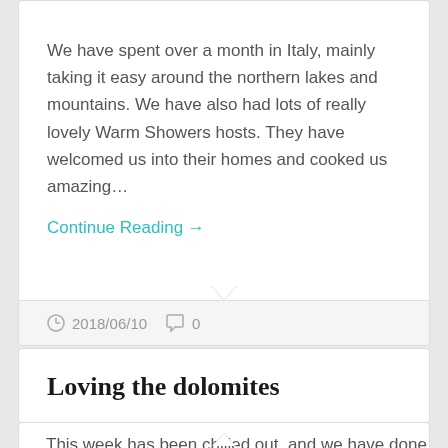We have spent over a month in Italy, mainly taking it easy around the northern lakes and mountains. We have also had lots of really lovely Warm Showers hosts. They have welcomed us into their homes and cooked us amazing…
Continue Reading →
2018/06/10   0
Loving the dolomites
This week has been chilled out, and we have done alot